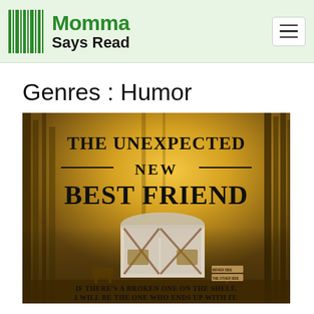Momma Says Read
Genres : Humor
[Figure (illustration): Book cover for 'The Unexpected New Best Friend' — golden misty forest background with a small white and red barn/shed structure. Text reads: THE UNEXPECTED — NEW — BEST FRIEND. Bottom text: IF THERE'S A BROKEN ONE ON THE SHELF, I WILL BE THE ONE WHO ENDS UP WITH IT.]